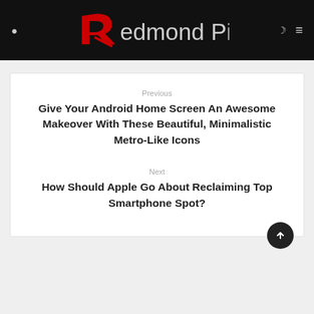Redmond Pie
Previous
Give Your Android Home Screen An Awesome Makeover With These Beautiful, Minimalistic Metro-Like Icons
Next
How Should Apple Go About Reclaiming Top Smartphone Spot?